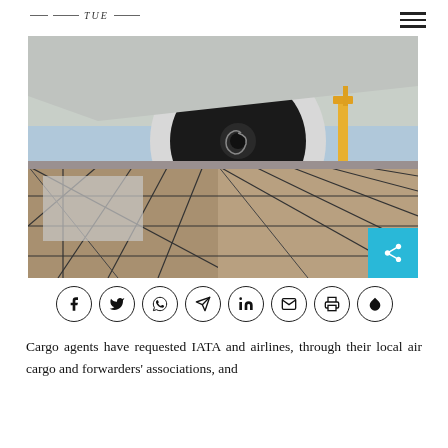TUE
[Figure (photo): Air cargo being loaded onto an aircraft. Foreground shows pallets of freight wrapped in nets. Background shows a large aircraft jet engine turbine.]
Cargo agents have requested IATA and airlines, through their local air cargo and forwarders' associations, and